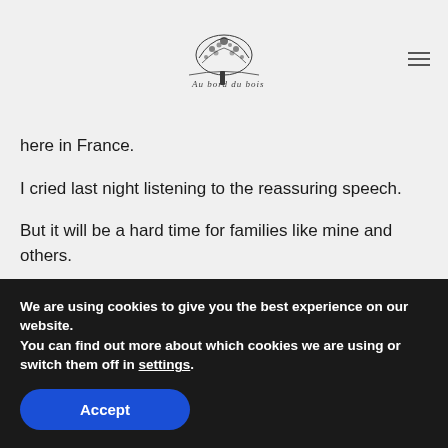[Logo illustration]
here in France.
I cried last night listening to the reassuring speech.
But it will be a hard time for families like mine and others.
Please stay at home and please appreciate what you have ❤
We are using cookies to give you the best experience on our website.
You can find out more about which cookies we are using or switch them off in settings.
Accept